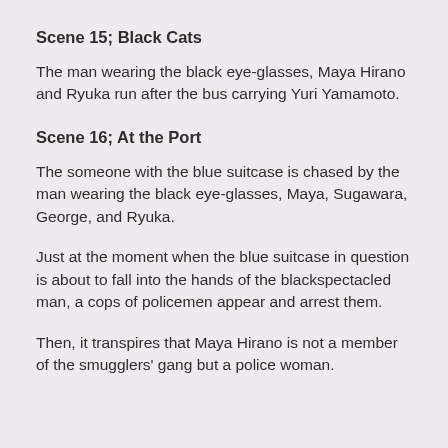Scene 15; Black Cats
The man wearing the black eye-glasses, Maya Hirano and Ryuka run after the bus carrying Yuri Yamamoto.
Scene 16; At the Port
The someone with the blue suitcase is chased by the man wearing the black eye-glasses, Maya, Sugawara, George, and Ryuka.
Just at the moment when the blue suitcase in question is about to fall into the hands of the blackspectacled man, a cops of policemen appear and arrest them.
Then, it transpires that Maya Hirano is not a member of the smugglers' gang but a police woman.